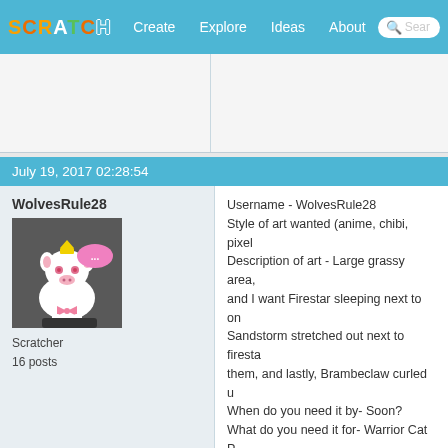SCRATCH | Create | Explore | Ideas | About | Search
[Figure (screenshot): Scratch website navigation bar with logo and menu items: Create, Explore, Ideas, About, and a search box]
[Figure (screenshot): Placeholder content area with two panels (left and right) above forum posts]
July 19, 2017 02:28:54
WolvesRule28
[Figure (illustration): Avatar of WolvesRule28 showing an animated goat/animal character with pink bow and speech bubble on dark background]
Scratcher
16 posts
Username - WolvesRule28
Style of art wanted (anime, chibi, pixel...
Description of art - Large grassy area,
and I want Firestar sleeping next to on
Sandstorm stretched out next to firesta
them, and lastly, Brambeclaw curled u
When do you need it by- Soon?
What do you need it for- Warrior Cat P
July 19, 2017 06:51:12
FollowCherryBlossom
Username- FollowCherryBlosdom